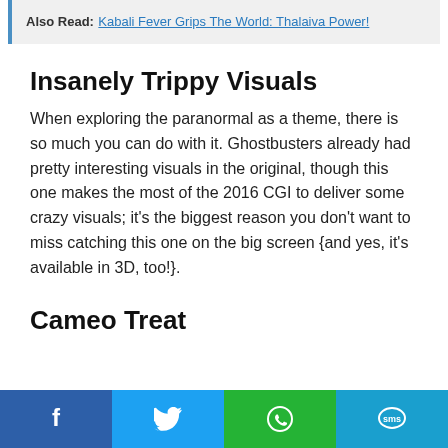Also Read:  Kabali Fever Grips The World: Thalaiva Power!
Insanely Trippy Visuals
When exploring the paranormal as a theme, there is so much you can do with it. Ghostbusters already had pretty interesting visuals in the original, though this one makes the most of the 2016 CGI to deliver some crazy visuals; it’s the biggest reason you don’t want to miss catching this one on the big screen {and yes, it’s available in 3D, too!}.
Cameo Treat
[Figure (infographic): Social sharing bar with Facebook, Twitter, WhatsApp, and SMS buttons]